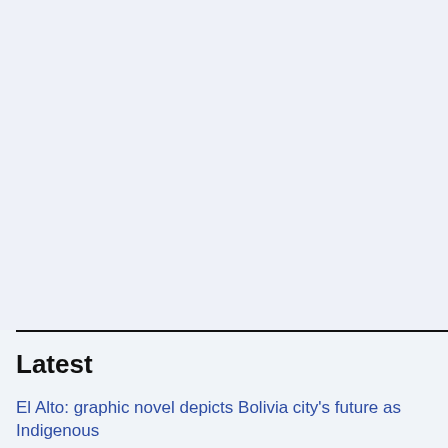[Figure (other): Large blank light blue-grey area occupying the upper portion of the page, likely an image placeholder or advertisement space.]
Latest
El Alto: graphic novel depicts Bolivia city's future as Indigenous